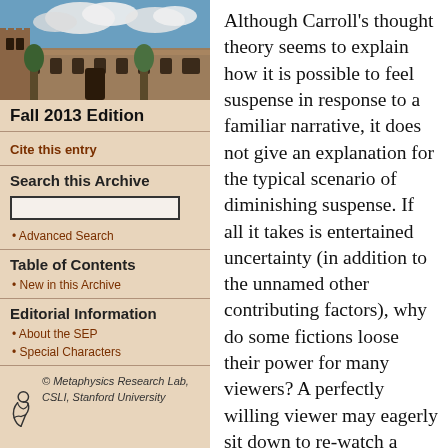[Figure (photo): Photograph of a university building (stone Gothic architecture) with blue sky and clouds]
Fall 2013 Edition
Cite this entry
Search this Archive
Advanced Search
Table of Contents
New in this Archive
Editorial Information
About the SEP
Special Characters
[Figure (logo): Metaphysics Research Lab logo — a stylized figure]
© Metaphysics Research Lab, CSLI, Stanford University
Although Carroll's thought theory seems to explain how it is possible to feel suspense in response to a familiar narrative, it does not give an explanation for the typical scenario of diminishing suspense. If all it takes is entertained uncertainty (in addition to the unnamed other contributing factors), why do some fictions loose their power for many viewers? A perfectly willing viewer may eagerly sit down to re-watch a suspenseful film without feeling nearly the same amount of suspense as on the first viewing. This scenario—that of diminishing returns (to the same narrative)— is not merely